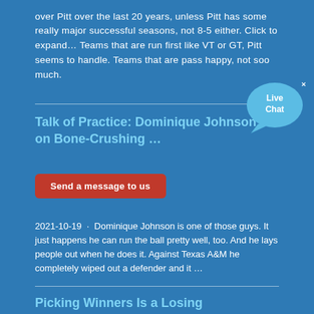over Pitt over the last 20 years, unless Pitt has some really major successful seasons, not 8-5 either. Click to expand... Teams that are run first like VT or GT, Pitt seems to handle. Teams that are pass happy, not soo much.
Talk of Practice: Dominique Johnson on Bone-Crushing ...
[Figure (other): Live Chat widget bubble button]
Send a message to us
2021-10-19 · Dominique Johnson is one of those guys. It just happens he can run the ball pretty well, too. And he lays people out when he does it. Against Texas A&M he completely wiped out a defender and it ...
Picking Winners Is a Losing